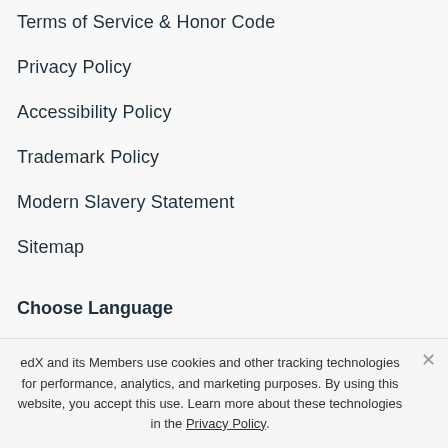Terms of Service & Honor Code
Privacy Policy
Accessibility Policy
Trademark Policy
Modern Slavery Statement
Sitemap
Choose Language
edX and its Members use cookies and other tracking technologies for performance, analytics, and marketing purposes. By using this website, you accept this use. Learn more about these technologies in the Privacy Policy.